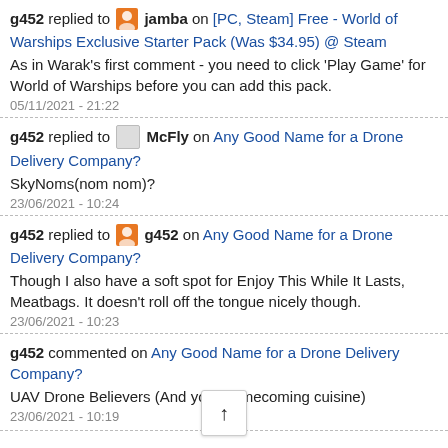g452 replied to jamba on [PC, Steam] Free - World of Warships Exclusive Starter Pack (Was $34.95) @ Steam
As in Warak's first comment - you need to click 'Play Game' for World of Warships before you can add this pack.
05/11/2021 - 21:22
g452 replied to McFly on Any Good Name for a Drone Delivery Company?
SkyNoms(nom nom)?
23/06/2021 - 10:24
g452 replied to g452 on Any Good Name for a Drone Delivery Company?
Though I also have a soft spot for Enjoy This While It Lasts, Meatbags. It doesn't roll off the tongue nicely though.
23/06/2021 - 10:23
g452 commented on Any Good Name for a Drone Delivery Company?
UAV Drone Believers (And your homecoming cuisine)
23/06/2021 - 10:19